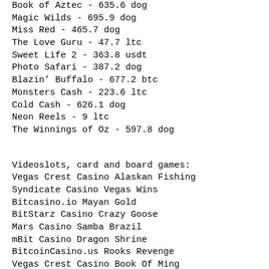Book of Aztec - 635.6 dog
Magic Wilds - 695.9 dog
Miss Red - 465.7 dog
The Love Guru - 47.7 ltc
Sweet Life 2 - 363.8 usdt
Photo Safari - 387.2 dog
Blazin’ Buffalo - 677.2 btc
Monsters Cash - 223.6 ltc
Cold Cash - 626.1 dog
Neon Reels - 9 ltc
The Winnings of Oz - 597.8 dog
Videoslots, card and board games:
Vegas Crest Casino Alaskan Fishing
Syndicate Casino Vegas Wins
Bitcasino.io Mayan Gold
BitStarz Casino Crazy Goose
Mars Casino Samba Brazil
mBit Casino Dragon Shrine
BitcoinCasino.us Rooks Revenge
Vegas Crest Casino Book Of Ming